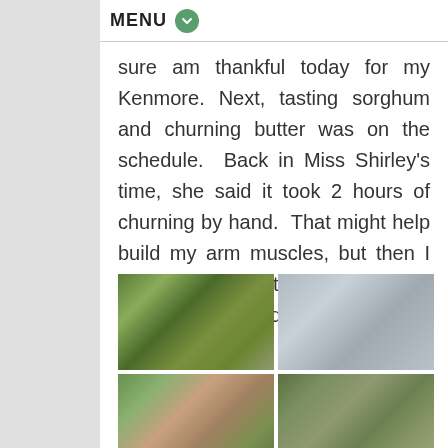MENU
sure am thankful today for my Kenmore. Next, tasting sorghum and churning butter was on the schedule. Back in Miss Shirley's time, she said it took 2 hours of churning by hand. That might help build my arm muscles, but then I would just eat the butter! Also, sorghum is an acquired taste.
[Figure (photo): Four photos in a 2x2 grid showing children and adults working with what appears to be butter churning or sorghum processing equipment outdoors.]